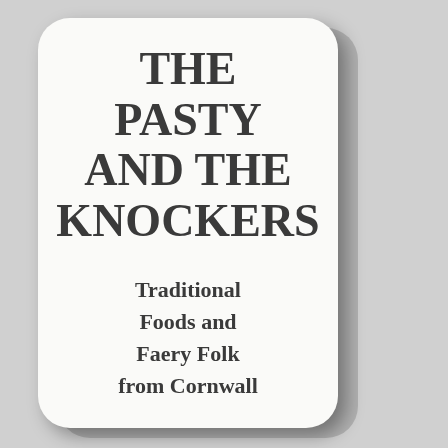THE PASTY AND THE KNOCKERS
Traditional Foods and Faery Folk from Cornwall